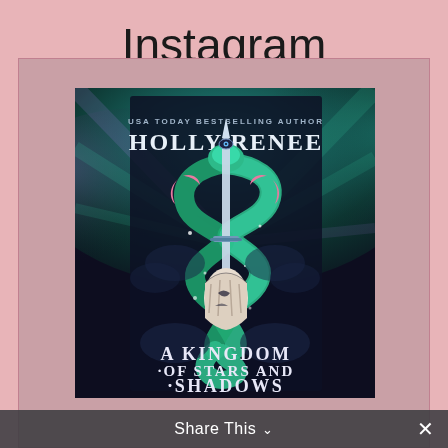Instagram
[Figure (illustration): Book cover of 'A Kingdom of Stars and Shadows' by Holly Renee (USA Today Bestselling Author). Dark background with a hand gripping a dagger wrapped by a green serpent, pink crescent moons, stars, and mystical imagery. Background shows teal and pink aurora-like rays.]
Share This ˅